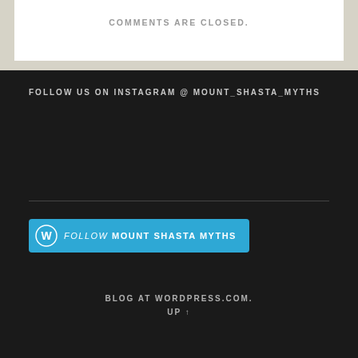COMMENTS ARE CLOSED.
FOLLOW US ON INSTAGRAM @ MOUNT_SHASTA_MYTHS
[Figure (other): WordPress Follow button for MOUNT SHASTA MYTHS blog]
BLOG AT WORDPRESS.COM.
UP ↑